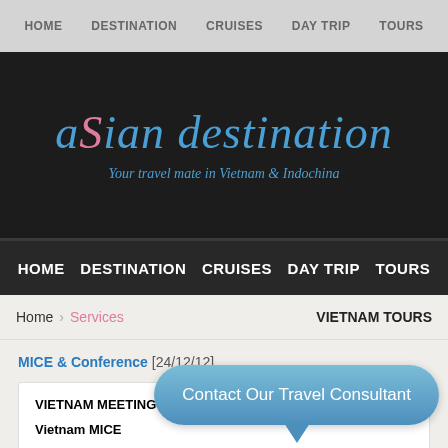HOME   DESTINATION   CRUISES   DAY TRIP   TOURS
[Figure (logo): Asian Destination logo — stylized cursive text 'asian destination' in blue with pink accent on S, tagline 'Your travel mate in Vietnam & Indochina' on dark background]
HOME   DESTINATION   CRUISES   DAY TRIP   TOURS
Home   Services   VIETNAM TOURS
MICE & Conference [24/12/12]
VIETNAM MEETING I...
Vietnam MICE
[Figure (illustration): Blue rounded speech bubble / tooltip overlay with text 'Contact Our Travel Consultant']